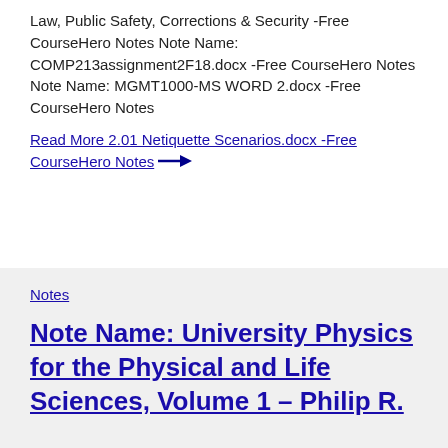Law, Public Safety, Corrections & Security -Free CourseHero Notes Note Name: COMP213assignment2F18.docx -Free CourseHero Notes Note Name: MGMT1000-MS WORD 2.docx -Free CourseHero Notes
Read More 2.01 Netiquette Scenarios.docx -Free CourseHero Notes →
Notes
Note Name: University Physics for the Physical and Life Sciences, Volume 1 – Philip R.